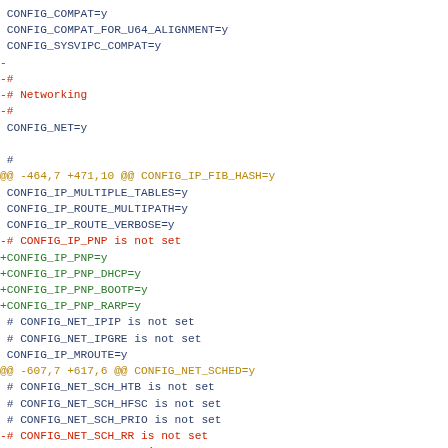Unified diff / kernel config patch showing changes to CONFIG_COMPAT, Networking, CONFIG_IP_PNP, and CONFIG_NET_SCH sections